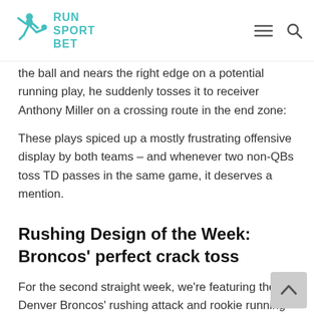RUN SPORT BET
the ball and nears the right edge on a potential running play, he suddenly tosses it to receiver Anthony Miller on a crossing route in the end zone:
These plays spiced up a mostly frustrating offensive display by both teams – and whenever two non-QBs toss TD passes in the same game, it deserves a mention.
Rushing Design of the Week: Broncos' perfect crack toss
For the second straight week, we're featuring the Denver Broncos' rushing attack and rookie running back Phillip Lindsay. In Sunday's 24-10 win over